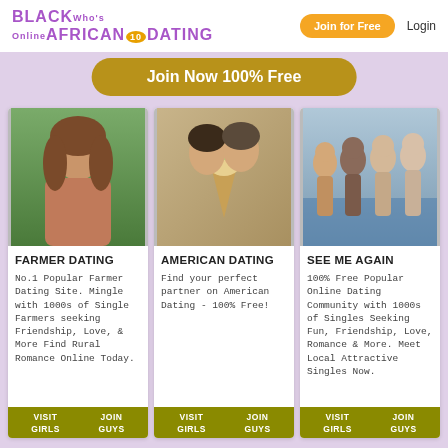BLACK AFRICAN DATING | Who's Online | Join for Free | Login
Join Now 100% Free
[Figure (photo): Young woman with long hair outdoors]
FARMER DATING
No.1 Popular Farmer Dating Site. Mingle with 1000s of Single Farmers seeking Friendship, Love, & More Find Rural Romance Online Today.
[Figure (photo): Couple sharing food, close up]
AMERICAN DATING
Find your perfect partner on American Dating - 100% Free!
[Figure (photo): Group of women at beach]
SEE ME AGAIN
100% Free Popular Online Dating Community with 1000s of Singles Seeking Fun, Friendship, Love, Romance & More. Meet Local Attractive Singles Now.